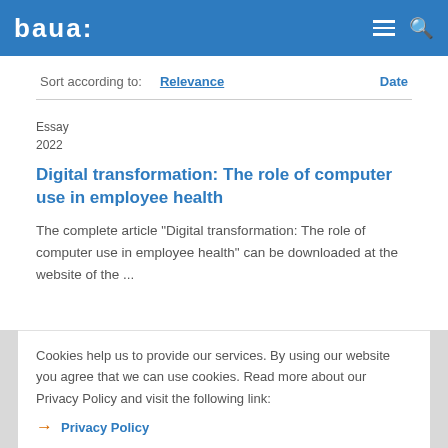baua:
Sort according to:  Relevance  Date
Essay
2022
Digital transformation: The role of computer use in employee health
The complete article "Digital transformation: The role of computer use in employee health" can be downloaded at the website of the ...
Cookies help us to provide our services. By using our website you agree that we can use cookies. Read more about our Privacy Policy and visit the following link:
→ Privacy Policy